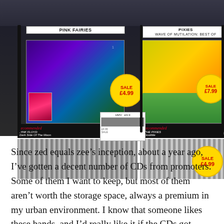[Figure (photo): Photo of CD bins in an HMV record store showing Pink Fairies and Pixies sections with sale stickers (£4.99, £7.99, £4.99) and HMV recommended tags for Pink Floyd Dark Side Of The Moon and The Pixies Doolittle]
Since zed equals zee's inception, about a year ago, I've gotten a decent number of CDs from promoters. Some of them I want to keep, but most of them aren't worth the storage space, always a premium in my urban environment. I know that someone likes these bands, and I'd really like it if the CDs got listened to. And the easiest